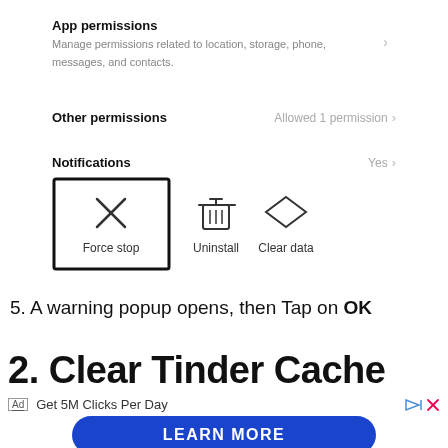App permissions
Manage permissions related to location, storage, phone, messages, and contacts.
Other permissions   Allowed 1 permission >
Notifications   Yes >
[Figure (screenshot): Three action buttons: Force stop (highlighted with border), Uninstall, Clear data]
5. A warning popup opens, then Tap on OK
2. Clear Tinder Cache
Ad  Get 5M Clicks Per Day
LEARN MORE